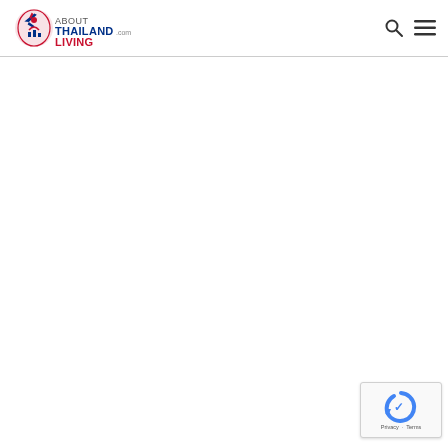AboutThailandLiving.com — Your Thailand's Lifestyle Source
[Figure (logo): AboutThailandLiving.com logo with stylized Thailand map and tagline 'YOUR THAILAND'S LIFESTYLE SOURCE', plus search and hamburger menu icons]
[Figure (logo): reCAPTCHA badge with Privacy and Terms links]